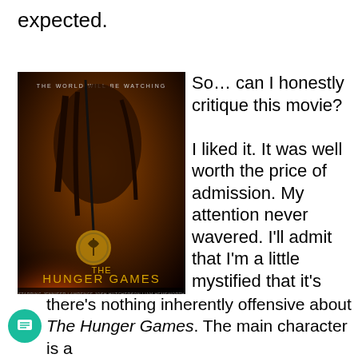expected.
[Figure (photo): The Hunger Games movie poster featuring a female character with a bow and arrow, with text THE WORLD WILL BE WATCHING and MARCH 23]
So… can I honestly critique this movie?

I liked it. It was well worth the price of admission. My attention never wavered. I'll admit that I'm a little mystified that it's become some kind of cultural landmark,
1
there's nothing inherently offensive about The Hunger Games. The main character is a